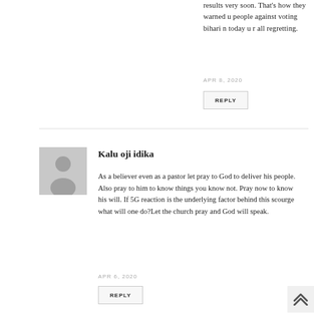results very soon. That's how they warned u people against voting bihari n today u r all regretting.
APR 8, 2020
REPLY
Kalu oji idika
[Figure (illustration): Grey avatar placeholder with silhouette of a person (head and shoulders)]
As a believer even as a pastor let pray to God to deliver his people. Also pray to him to know things you know not. Pray now to know his will. If 5G reaction is the underlying factor behind this scourge what will one do?Let the church pray and God will speak.
APR 6, 2020
REPLY